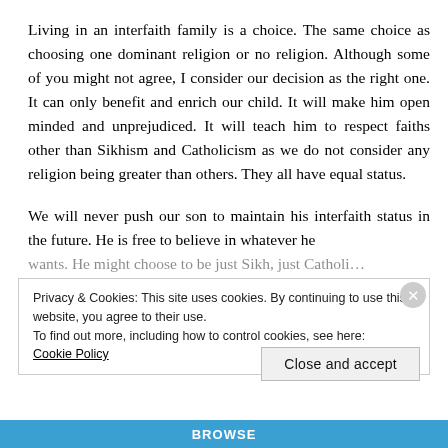Living in an interfaith family is a choice. The same choice as choosing one dominant religion or no religion. Although some of you might not agree, I consider our decision as the right one. It can only benefit and enrich our child. It will make him open minded and unprejudiced. It will teach him to respect faiths other than Sikhism and Catholicism as we do not consider any religion being greater than others. They all have equal status.
We will never push our son to maintain his interfaith status in the future. He is free to believe in whatever he wants. He might choose to be just Sikh, just Catholic...
Privacy & Cookies: This site uses cookies. By continuing to use this website, you agree to their use. To find out more, including how to control cookies, see here: Cookie Policy
Close and accept
BROWSE